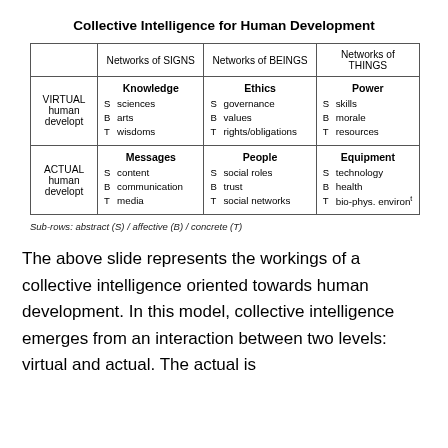Collective Intelligence for Human Development
|  | Networks of SIGNS | Networks of BEINGS | Networks of THINGS |
| --- | --- | --- | --- |
| VIRTUAL human developt | Knowledge
S sciences
B arts
T wisdoms | Ethics
S governance
B values
T rights/obligations | Power
S skills
B morale
T resources |
| ACTUAL human developt | Messages
S content
B communication
T media | People
S social roles
B trust
T social networks | Equipment
S technology
B health
T bio-phys. environ¹ |
Sub-rows: abstract (S) / affective (B) / concrete (T)
The above slide represents the workings of a collective intelligence oriented towards human development. In this model, collective intelligence emerges from an interaction between two levels: virtual and actual. The actual is